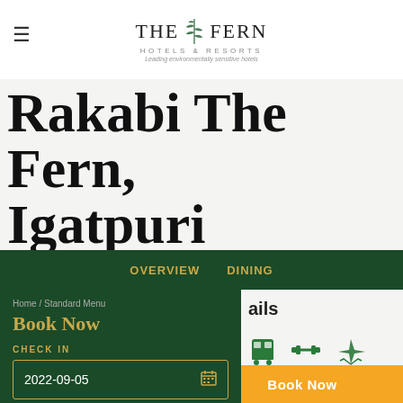The Fern Hotels & Resorts — Leading environmentally sensitive hotels
Rakabi The Fern, Igatpuri
(Maharashtra)
Overview  Dining
Home / Standard Menu
Book Now
CHECK IN
2022-09-05
ails
8 km  Gymnasium  8 Km
Find Hotels
Book Now